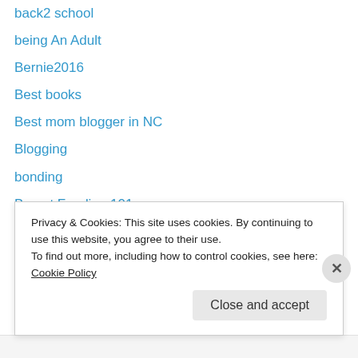back2 school
being An Adult
Bernie2016
Best books
Best mom blogger in NC
Blogging
bonding
Breast Feeding 101
Breastfeeding
candy Land
car accident
Cassie Sweetz
Charlotte Baker
Charlotte NC
Privacy & Cookies: This site uses cookies. By continuing to use this website, you agree to their use.
To find out more, including how to control cookies, see here: Cookie Policy
Close and accept